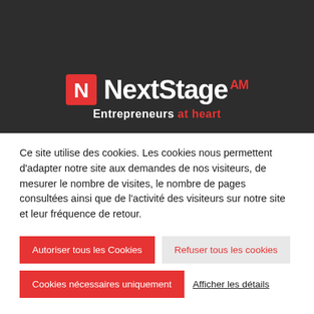[Figure (logo): NextStage AM logo with red N icon and tagline 'Entrepreneurs at heart' on dark background]
Ce site utilise des cookies. Les cookies nous permettent d'adapter notre site aux demandes de nos visiteurs, de mesurer le nombre de visites, le nombre de pages consultées ainsi que de l'activité des visiteurs sur notre site et leur fréquence de retour.
Autoriser tous les Cookies
Refuser tous les cookies
Cookies nécessaires uniquement
Afficher les détails